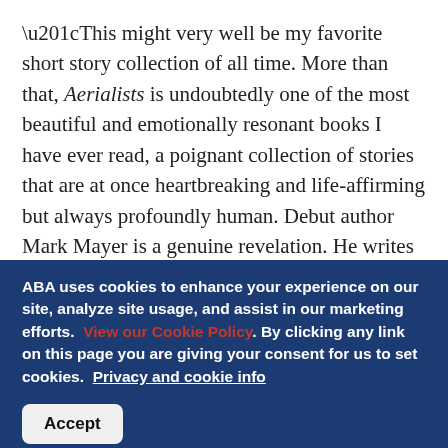“This might very well be my favorite short story collection of all time. More than that, Aerialists is undoubtedly one of the most beautiful and emotionally resonant books I have ever read, a poignant collection of stories that are at once heartbreaking and life-affirming but always profoundly human. Debut author Mark Mayer is a genuine revelation. He writes with dizzying insight and uncanny grace, his prose sparkling brilliantly in the light. Like a great ringmaster, he captivates the attention of his audience and shows us the rich weirdness hiding beneath the surface of everyday life. Aerialists subverts expectations, pushes boundaries, and dares to be different, all while whispering of more wonders to come.” —Jason Foose, Changing Hands,
ABA uses cookies to enhance your experience on our site, analyze site usage, and assist in our marketing efforts. View our Cookie Policy. By clicking any link on this page you are giving your consent for us to set cookies. Privacy and cookie info
Accept